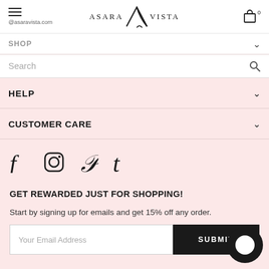@asaravista.com — Asara Vista — Cart (0)
SHOP
Search
HELP
CUSTOMER CARE
[Figure (infographic): Social media icons: Facebook, Instagram, Pinterest, Tumblr]
GET REWARDED JUST FOR SHOPPING!
Start by signing up for emails and get 15% off any order.
Your Email Address
SUBMIT